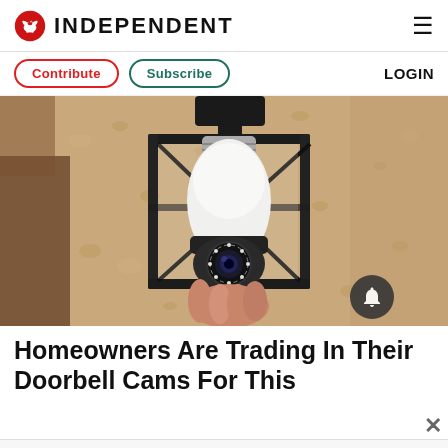INDEPENDENT
Contribute   Subscribe   LOGIN
[Figure (photo): A security camera disguised as a light bulb screwed into an outdoor lantern fixture mounted on a textured stucco wall. A hand is inserting or adjusting the white camera-bulb device into the black metal lantern frame.]
Homeowners Are Trading In Their Doorbell Cams For This